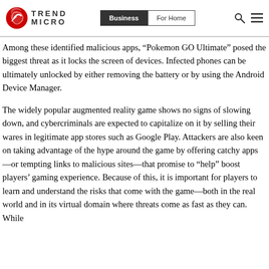[Figure (logo): Trend Micro logo with red circular icon and TREND MICRO text, with Business and For Home navigation buttons, search and menu icons]
Among these identified malicious apps, “Pokemon GO Ultimate” posed the biggest threat as it locks the screen of devices. Infected phones can be ultimately unlocked by either removing the battery or by using the Android Device Manager.
The widely popular augmented reality game shows no signs of slowing down, and cybercriminals are expected to capitalize on it by selling their wares in legitimate app stores such as Google Play. Attackers are also keen on taking advantage of the hype around the game by offering catchy apps—or tempting links to malicious sites—that promise to “help” boost players’ gaming experience. Because of this, it is important for players to learn and understand the risks that come with the game—both in the real world and in its virtual domain where threats come as fast as they can. While